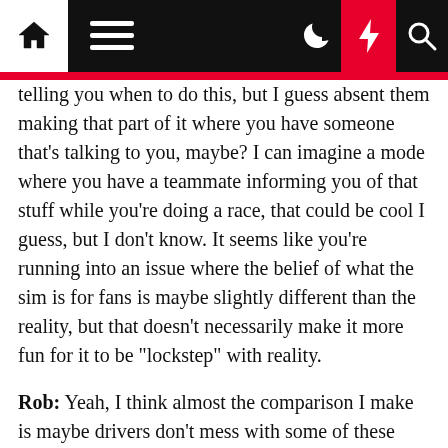Navigation bar with home, menu, moon, bolt, and search icons
telling you when to do this, but I guess absent them making that part of it where you have someone that's talking to you, maybe? I can imagine a mode where you have a teammate informing you of that stuff while you're doing a race, that could be cool I guess, but I don't know. It seems like you're running into an issue where the belief of what the sim is for fans is maybe slightly different than the reality, but that doesn't necessarily make it more fun for it to be "lockstep" with reality.
Rob: Yeah, I think almost the comparison I make is maybe drivers don't mess with some of these settings directly, but I think the other element of this is in sports games, yeah you control the quarterback you control the running back or whatever in Madden, but you also still have to call the plays. And if there were a Madden that came out that's like "you know...